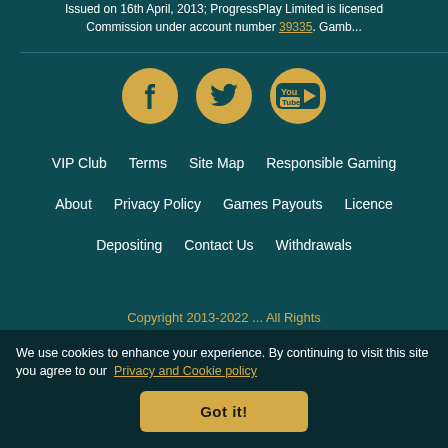Issued on 16th April, 2013; ProgressPlay Limited is licensed by the UK Gambling Commission under account number 39335. Gamb...
[Figure (illustration): Three social media icons (Facebook, Twitter, YouTube) as gold circles on dark teal background]
VIP Club | Terms | Site Map | Responsible Gaming
About | Privacy Policy | Games Payouts | Licence
Depositing | Contact Us | Withdrawals
Copyright 2013-2022 ... All Rights
We use cookies to enhance your experience. By continuing to visit this site you agree to our Privacy and Cookie policy
Got it!